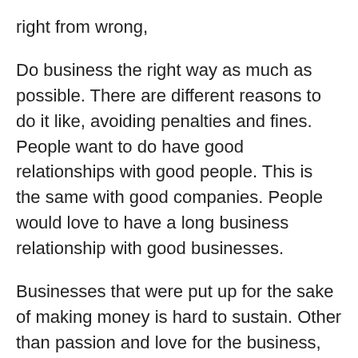right from wrong,
Do business the right way as much as possible. There are different reasons to do it like, avoiding penalties and fines. People want to do have good relationships with good people. This is the same with good companies. People would love to have a long business relationship with good businesses.
Businesses that were put up for the sake of making money is hard to sustain. Other than passion and love for the business, the right values would aid our efforts to go to the right direction.
Like mention above, our business is who we are. It should be a reflection of ourselves, good or bad.
Virtues are traits that form the principles of our good moral being, To be good you should have these